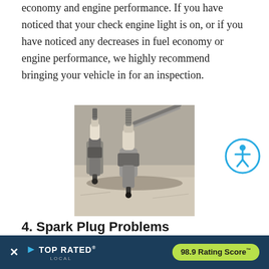economy and engine performance. If you have noticed that your check engine light is on, or if you have noticed any decreases in fuel economy or engine performance, we highly recommend bringing your vehicle in for an inspection.
[Figure (photo): Close-up photo of two spark plugs lying on a weathered surface]
[Figure (other): Accessibility icon — blue circle with white figure person symbol]
4. Spark Plug Problems
Over time, spark plugs can become fouled with carbon deposits or worn out, causing misfires and triggering the check engine... reasons we see c...
[Figure (other): Top Rated Local banner overlay with close button, logo, and 98.9 Rating Score badge]